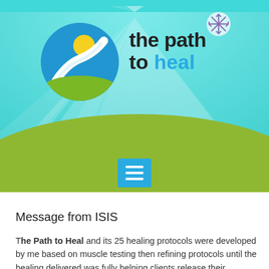[Figure (logo): The Path to Heal website screenshot with logo circle, sunray background, green hill, site title text, and navigation menu button]
the path to heal
Message from ISIS
The Path to Heal and its 25 healing protocols were developed by me based on muscle testing then refining protocols until the healing delivered was fully helping clients release their physical symptoms and negative circumstances.  The Path was also channelled into me